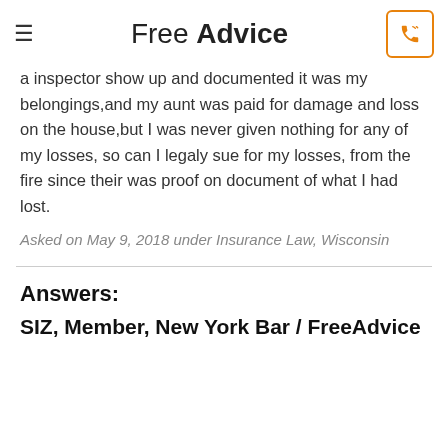Free Advice
a inspector show up and documented it was my belongings,and my aunt was paid for damage and loss on the house,but I was never given nothing for any of my losses, so can I legaly sue for my losses, from the fire since their was proof on document of what I had lost.
Asked on May 9, 2018 under Insurance Law, Wisconsin
Answers:
SIZ, Member, New York Bar / FreeAdvice